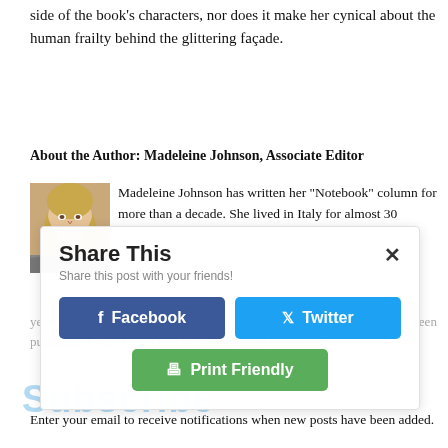side of the book's characters, nor does it make her cynical about the human frailty behind the glittering façade.
About the Author: Madeleine Johnson, Associate Editor
[Figure (photo): Headshot photo of Madeleine Johnson, a woman with blonde hair]
Madeleine Johnson has written her "Notebook" column for more than a decade. She lived in Italy for almost 30 years, mostly in Milan, before returning to the US in 2015. Her work has been published in the "Financial Times" and "New York Post."
Subscribe
Enter your email to receive notifications when new posts have been added.
[Figure (infographic): Share This overlay with Facebook, Twitter, and Print Friendly buttons]